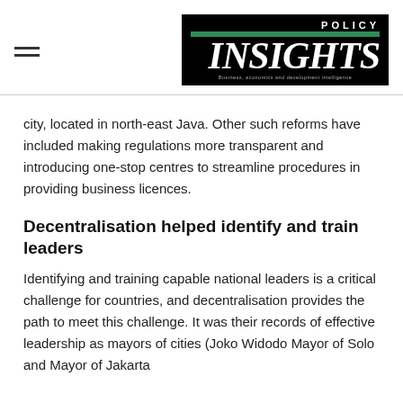POLICY INSIGHTS — Business, economics and development intelligence
city, located in north-east Java. Other such reforms have included making regulations more transparent and introducing one-stop centres to streamline procedures in providing business licences.
Decentralisation helped identify and train leaders
Identifying and training capable national leaders is a critical challenge for countries, and decentralisation provides the path to meet this challenge. It was their records of effective leadership as mayors of cities (Joko Widodo Mayor of Solo and Mayor of Jakarta